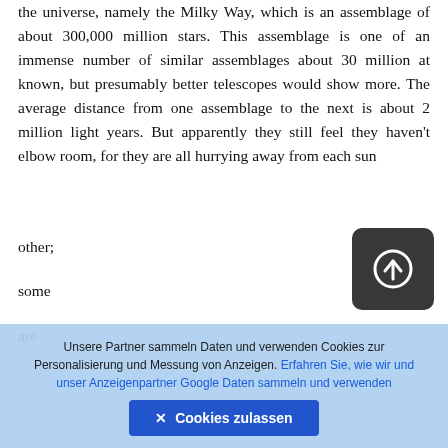the universe, namely the Milky Way, which is an assemblage of about 300,000 million stars. This assemblage is one of an immense number of similar assemblages about 30 million at known, but presumably better telescopes would show more. The average distance from one assemblage to the next is about 2 million light years. But apparently they still feel they haven't elbow room, for they are all hurrying away from each sun
other;
[Figure (other): Dark rounded square button with a circular upload/navigate icon (circle with upward arrow)]
some
are
Unsere Partner sammeln Daten und verwenden Cookies zur Personalisierung und Messung von Anzeigen. Erfahren Sie, wie wir und unser Anzeigenpartner Google Daten sammeln und verwenden
✕ Cookies zulassen